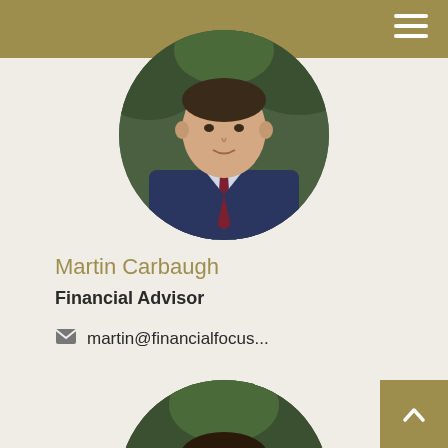[Figure (photo): Circular headshot of Martin Carbaugh, a man in a blue suit with a dark red tie, photographed outdoors with greenery in the background.]
Martin Carbaugh
Financial Advisor
martin@financialfocus...
[Figure (photo): Circular headshot of a younger man with a beard, smiling, wearing a suit, photographed outdoors with greenery in the background.]